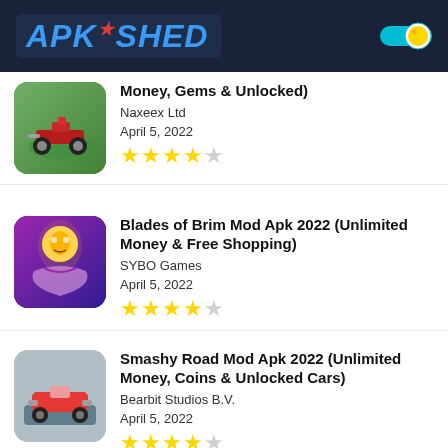APK SHED
Money, Gems & Unlocked)
Naxeex Ltd
April 5, 2022
★★★★☆
Blades of Brim Mod Apk 2022 (Unlimited Money & Free Shopping)
SYBO Games
April 5, 2022
★★★★☆
Smashy Road Mod Apk 2022 (Unlimited Money, Coins & Unlocked Cars)
Bearbit Studios B.V.
April 5, 2022
★★★★☆